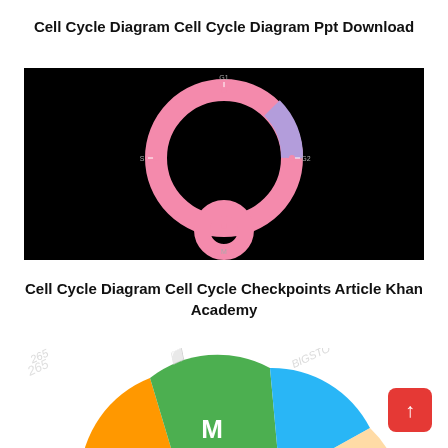Cell Cycle Diagram Cell Cycle Diagram Ppt Download
[Figure (schematic): Cell cycle diagram on black background showing a large pink circular ring with a smaller pink ring at the bottom, representing different phases of the cell cycle with small labels at checkpoint positions.]
Cell Cycle Diagram Cell Cycle Checkpoints Article Khan Academy
[Figure (pie-chart): Partial pie chart visible at bottom of page showing cell cycle phases including M phase (green), with orange, blue and other colored segments. Watermark text visible in background.]